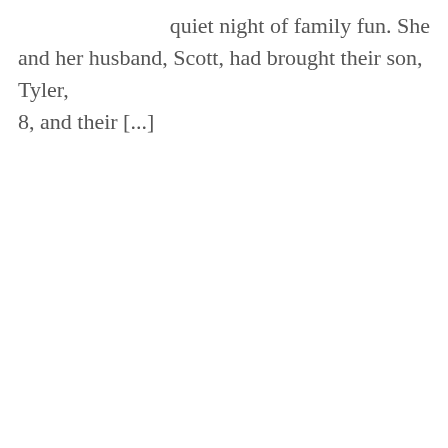quiet night of family fun. She and her husband, Scott, had brought their son, Tyler, 8, and their [...]